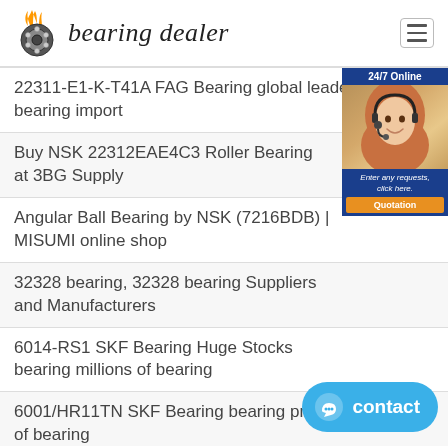bearing dealer
22311-E1-K-T41A FAG Bearing global leader bearing bearing import
Buy NSK 22312EAE4C3 Roller Bearing at 3BG Supply
Angular Ball Bearing by NSK (7216BDB) | MISUMI online shop
32328 bearing, 32328 bearing Suppliers and Manufacturers
6014-RS1 SKF Bearing Huge Stocks bearing millions of bearing
6001/HR11TN SKF Bearing bearing products millions of bearing
NUP2318 bearing | Bearings Online with height quality and
423034 NTN Bearing bearing sale high discount 2months
NSK 25BGR02X bearing, bearing dimension 25mm*52mm*15mm
[Figure (infographic): 24/7 Online customer service widget with a smiling woman wearing a headset, Enter any requests click here, and Quotation button]
[Figure (infographic): Blue contact button with chat icon]